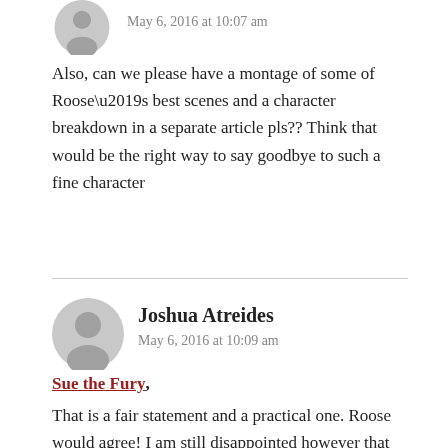[Figure (illustration): Partial gray avatar icon at top]
May 6, 2016 at 10:07 am
Also, can we please have a montage of some of Roose’s best scenes and a character breakdown in a separate article pls?? Think that would be the right way to say goodbye to such a fine character
[Figure (illustration): Gray circular avatar icon for Joshua Atreides]
Joshua Atreides
May 6, 2016 at 10:09 am
Sue the Fury,
That is a fair statement and a practical one. Roose would agree! I am still disappointed however that this article subtly criticizes the show that Michael